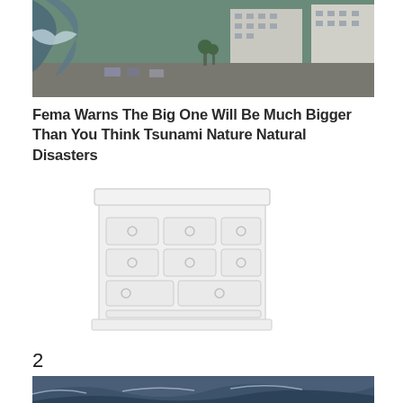[Figure (photo): Aerial view of a city with large buildings and a tsunami wave in the background]
Fema Warns The Big One Will Be Much Bigger Than You Think Tsunami Nature Natural Disasters
[Figure (photo): Illustration of a white dresser/chest of drawers]
2
[Figure (photo): Stormy ocean waves]